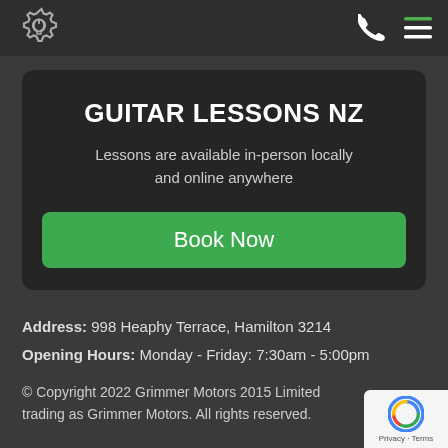[Figure (logo): Grimmer Motors gear/wrench logo icon in white on dark background]
GUITAR LESSONS NZ
Lessons are available in-person locally and online anywhere
Book Now
Address: 998 Heaphy Terrace, Hamilton 3214
Opening Hours: Monday - Friday: 7:30am - 5:00pm
© Copyright 2022 Grimmer Motors 2015 Limited trading as Grimmer Motors. All rights reserved.